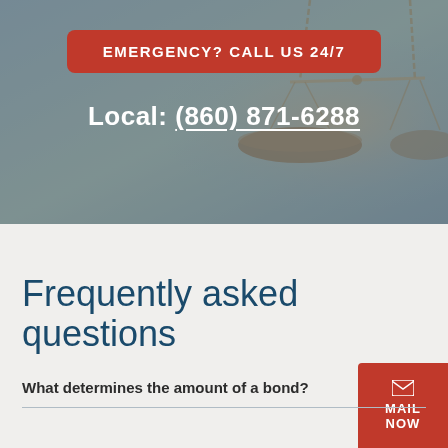[Figure (photo): Hero background with blurred scales of justice image and gray-blue overlay]
EMERGENCY? CALL US 24/7
Local: (860) 871-6288
Frequently asked questions
MAIL NOW
What determines the amount of a bond?